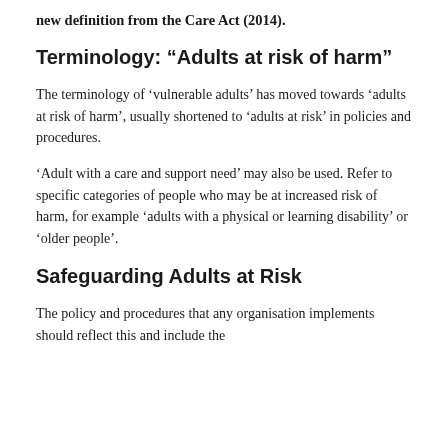new definition from the Care Act (2014).
Terminology: “Adults at risk of harm”
The terminology of ‘vulnerable adults’ has moved towards ‘adults at risk of harm’, usually shortened to ‘adults at risk’ in policies and procedures.
‘Adult with a care and support need’ may also be used. Refer to specific categories of people who may be at increased risk of harm, for example ‘adults with a physical or learning disability’ or ‘older people’.
Safeguarding Adults at Risk
The policy and procedures that any organisation implements should reflect this and include the